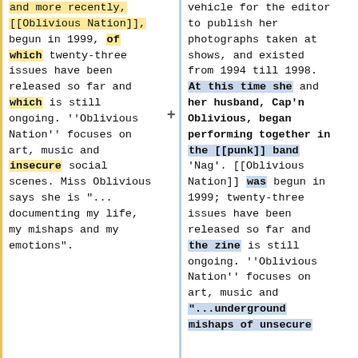and more recently, [[Oblivious Nation]], begun in 1999, of which twenty-three issues have been released so far and which is still ongoing. ''Oblivious Nation'' focuses on art, music and insecure social scenes. Miss Oblivious says she is "... documenting my life, my mishaps and my emotions".
originated as a vehicle for the editor to publish her photographs taken at shows, and existed from 1994 till 1998. At this time she and her husband, Cap'n Oblivious, began performing together in the [[punk]] band 'Nag'. [[Oblivious Nation]] was begun in 1999; twenty-three issues have been released so far and the zine is still ongoing. ''Oblivious Nation'' focuses on art, music and "...underground mishaps of unsecure